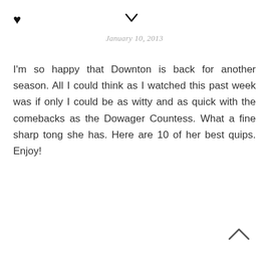♥  ✓  January 10, 2013
I'm so happy that Downton is back for another season. All I could think as I watched this past week was if only I could be as witty and as quick with the comebacks as the Dowager Countess. What a fine sharp tong she has. Here are 10 of her best quips. Enjoy!
^